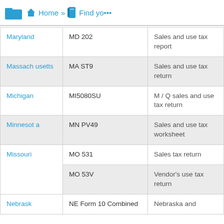Home >> Find yo...
| State | Form | Description |
| --- | --- | --- |
| Maryland | MD 202 | Sales and use tax report |
| Massachusetts | MA ST9 | Sales and use tax return |
| Michigan | MI5080SU | M / Q sales and use tax return |
| Minnesota | MN PV49 | Sales and use tax worksheet |
| Missouri | MO 531 | Sales tax return |
|  | MO 53V | Vendor's use tax return |
| Nebraska | NE Form 10 Combined | Nebraska and... |